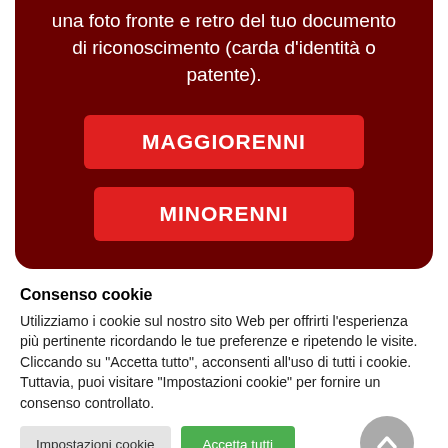una foto fronte e retro del tuo documento di riconoscimento (carda d'identità o patente).
MAGGIORENNI
MINORENNI
Consenso cookie
Utilizziamo i cookie sul nostro sito Web per offrirti l'esperienza più pertinente ricordando le tue preferenze e ripetendo le visite. Cliccando su "Accetta tutto", acconsenti all'uso di tutti i cookie. Tuttavia, puoi visitare "Impostazioni cookie" per fornire un consenso controllato.
Impostazioni cookie
Accetta tutti
Italian